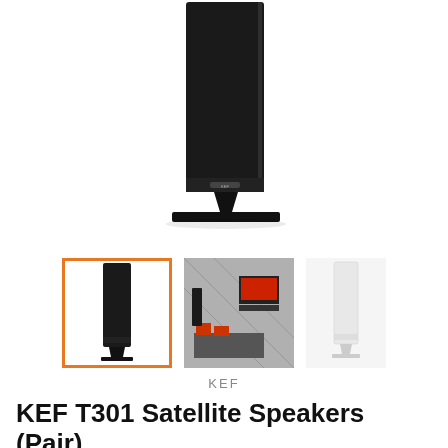[Figure (photo): Main large product image of a tall, slim black KEF T301 floor-standing speaker on a flat base, shown from a slightly angled front view on white background]
[Figure (photo): Thumbnail 1 (selected, orange border): Front-facing black KEF T301 speaker on white background]
[Figure (photo): Thumbnail 2: Living room lifestyle photo showing KEF speaker system with wall-mounted TV]
[Figure (photo): Thumbnail 3: White KEF T301 speaker on white background]
KEF
KEF T301 Satellite Speakers (Pair)